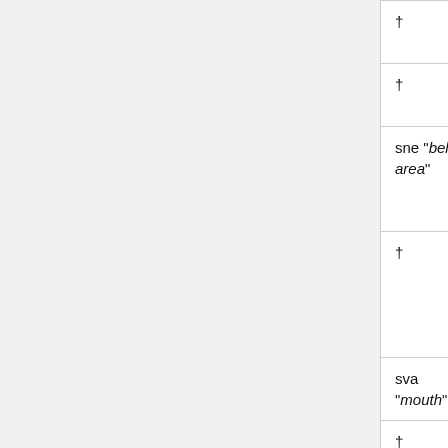| † | wevam | of foot = sole | 'w...
's... |
| † | webon | calf | be...
'fr... |
| sne "belly area" | snewar | belly, between hips and ribs | w...
'w... |
| † | snepum | naval | p...
'th...
w...
co...
or... |
| sva "mouth" | svadon | the entire mouth | de...
in... |
| † | svardip | lip | ne...
at... |
|  |  | area |  |